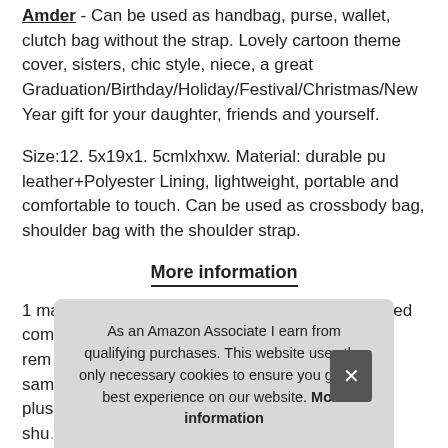Amder - Can be used as handbag, purse, wallet, clutch bag without the strap. Lovely cartoon theme cover, sisters, chic style, niece, a great Graduation/Birthday/Holiday/Festival/Christmas/New Year gift for your daughter, friends and yourself.
Size:12. 5x19x1. 5cmlxhxw. Material: durable pu leather+Polyester Lining, lightweight, portable and comfortable to touch. Can be used as crossbody bag, shoulder bag with the shoulder strap.
More information
1 main zippered compartment for phone, 1 zippered com... rem... sam... plus... shu...
As an Amazon Associate I earn from qualifying purchases. This website uses the only necessary cookies to ensure you get the best experience on our website. More information